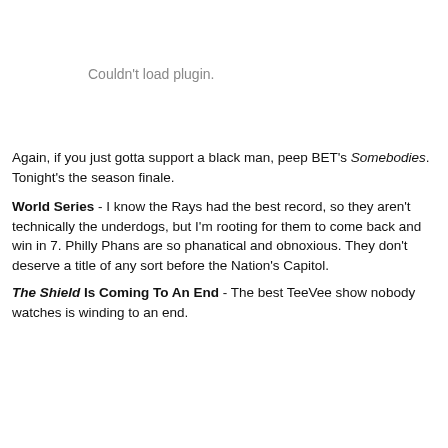[Figure (other): Plugin placeholder area with text 'Couldn't load plugin.']
Again, if you just gotta support a black man, peep BET's Somebodies. Tonight's the season finale.
World Series - I know the Rays had the best record, so they aren't technically the underdogs, but I'm rooting for them to come back and win in 7. Philly Phans are so phanatical and obnoxious. They don't deserve a title of any sort before the Nation's Capitol.
The Shield Is Coming To An End - The best TeeVee show nobody watches is winding to an end.